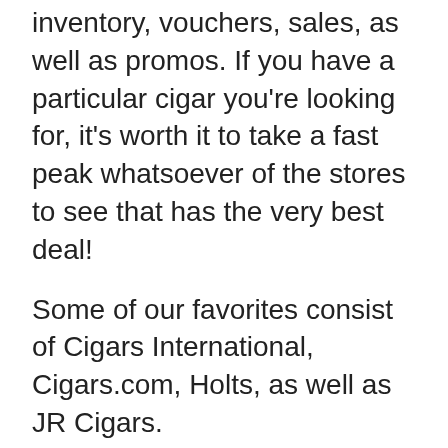inventory, vouchers, sales, as well as promos. If you have a particular cigar you're looking for, it's worth it to take a fast peak whatsoever of the stores to see that has the very best deal!
Some of our favorites consist of Cigars International, Cigars.com, Holts, as well as JR Cigars.
Nonetheless, if we needed to offer you an answer for who our preferred on-line cigar shop is, the response is basic: Famous Smoke Shop.
In our opinion, it's actually difficult to beat the consistent deals and promos used by Famous Smoke. They have a significant